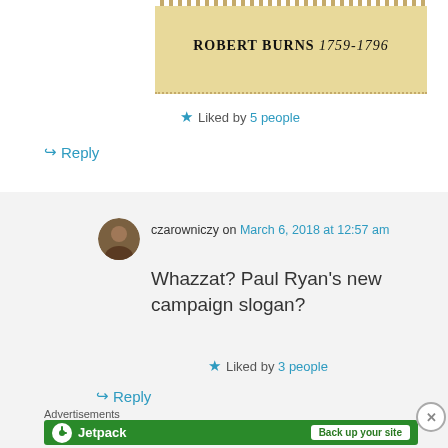[Figure (photo): Postage stamp or label showing 'ROBERT BURNS 1759-1796' in bold serif text with italic numerals on a tan/cream background with dotted border]
★ Liked by 5 people
↪ Reply
czarowniczy on March 6, 2018 at 12:57 am
Whazzat? Paul Ryan's new campaign slogan?
★ Liked by 3 people
↪ Reply
Advertisements
[Figure (logo): Jetpack advertisement banner with green background showing Jetpack logo and 'Back up your site' button]